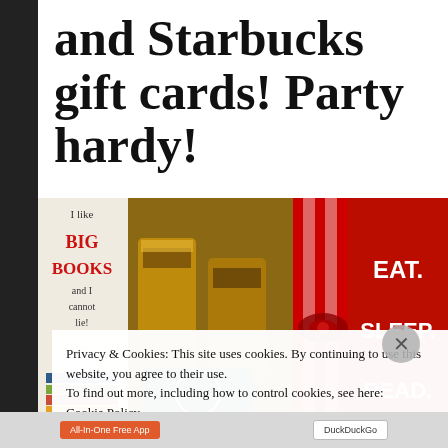and Starbucks gift cards! Party hardy!
[Figure (photo): Banner collage image showing 'I like BIG BOOKS and I cannot lie!' text on left, Starbucks card with drinks in center, gift boxes with bow, pink journal and earphones, and 'EAT. SLEEP. READ.' on red background on right.]
Privacy & Cookies: This site uses cookies. By continuing to use this website, you agree to their use.
To find out more, including how to control cookies, see here: Cookie Policy
Close and accept